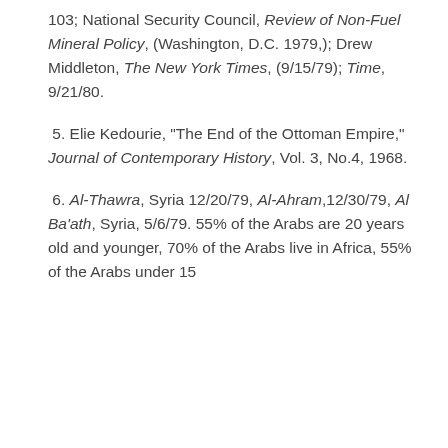103; National Security Council, Review of Non-Fuel Mineral Policy, (Washington, D.C. 1979,); Drew Middleton, The New York Times, (9/15/79); Time, 9/21/80.
5. Elie Kedourie, "The End of the Ottoman Empire," Journal of Contemporary History, Vol. 3, No.4, 1968.
6. Al-Thawra, Syria 12/20/79, Al-Ahram,12/30/79, Al Ba'ath, Syria, 5/6/79. 55% of the Arabs are 20 years old and younger, 70% of the Arabs live in Africa, 55% of the Arabs under 15